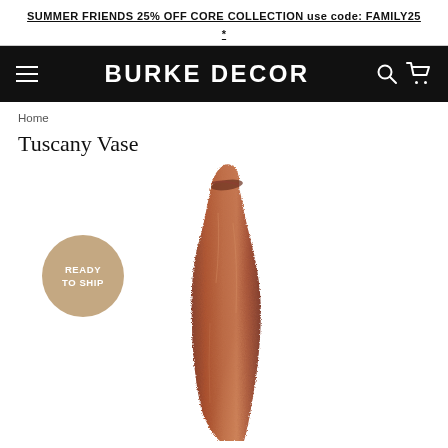SUMMER FRIENDS 25% OFF CORE COLLECTION use code: FAMILY25 *
BURKE DECOR
Home
Tuscany Vase
[Figure (photo): Tall slender copper-finish hammered metal vase with a slightly angled open top, photographed against a white background. A 'READY TO SHIP' circular badge overlays the lower-left area of the image.]